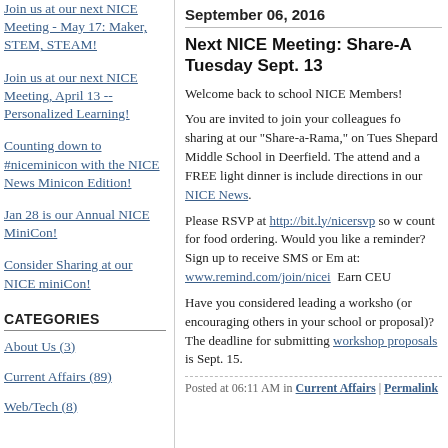Join us at our next NICE Meeting - May 17: Maker, STEM, STEAM!
Join us at our next NICE Meeting, April 13 -- Personalized Learning!
Counting down to #niceminicon with the NICE News Minicon Edition!
Jan 28 is our Annual NICE MiniCon!
Consider Sharing at our NICE miniCon!
CATEGORIES
About Us (3)
Current Affairs (89)
Web/Tech (8)
September 06, 2016
Next NICE Meeting: Share-A-Rama Tuesday Sept. 13
Welcome back to school NICE Members!
You are invited to join your colleagues for an evening of sharing at our "Share-a-Rama," on Tuesday at Shepard Middle School in Deerfield. The event is free to attend and a FREE light dinner is included. Find directions in our NICE News.
Please RSVP at http://bit.ly/nicersvp so we have a count for food ordering. Would you like a text/email reminder? Sign up to receive SMS or Email reminders at: www.remind.com/join/nicei  Earn CEU
Have you considered leading a workshop at our (or encouraging others in your school or workshop proposal)? The deadline for submitting workshop proposals is Sept. 15.
Posted at 06:11 AM in Current Affairs | Permalink